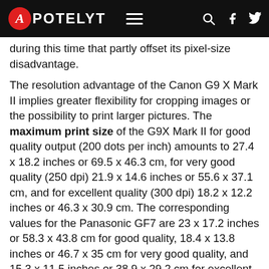APOTELYT
during this time that partly offset its pixel-size disadvantage.
The resolution advantage of the Canon G9 X Mark II implies greater flexibility for cropping images or the possibility to print larger pictures. The maximum print size of the G9X Mark II for good quality output (200 dots per inch) amounts to 27.4 x 18.2 inches or 69.5 x 46.3 cm, for very good quality (250 dpi) 21.9 x 14.6 inches or 55.6 x 37.1 cm, and for excellent quality (300 dpi) 18.2 x 12.2 inches or 46.3 x 30.9 cm. The corresponding values for the Panasonic GF7 are 23 x 17.2 inches or 58.3 x 43.8 cm for good quality, 18.4 x 13.8 inches or 46.7 x 35 cm for very good quality, and 15.3 x 11.5 inches or 38.9 x 29.2 cm for excellent quality prints.
The Canon PowerShot G9 X Mark II has a native sensitivity range from ISO 125 to ISO 12800. The corresponding ISO settings for the Panasonic Lumix DMC-GF7 are ISO 200 to ISO 25600, with the possibility to increase the ISO range to 100-25600.
In terms of underlying technology, the G9X Mark II is build